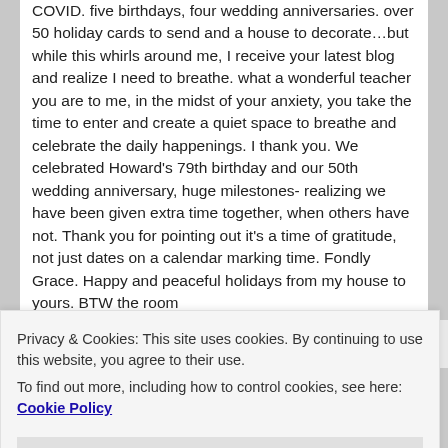COVID. five birthdays, four wedding anniversaries. over 50 holiday cards to send and a house to decorate…but while this whirls around me, I receive your latest blog and realize I need to breathe. what a wonderful teacher you are to me, in the midst of your anxiety, you take the time to enter and create a quiet space to breathe and celebrate the daily happenings. I thank you. We celebrated Howard's 79th birthday and our 50th wedding anniversary, huge milestones- realizing we have been given extra time together, when others have not. Thank you for pointing out it's a time of gratitude, not just dates on a calendar marking time. Fondly Grace. Happy and peaceful holidays from my house to yours. BTW the room
Privacy & Cookies: This site uses cookies. By continuing to use this website, you agree to their use. To find out more, including how to control cookies, see here: Cookie Policy
Close and accept